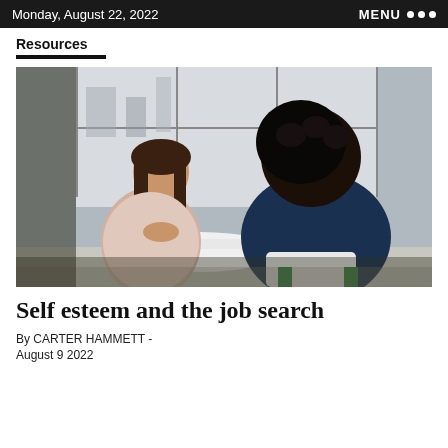Monday, August 22, 2022   MENU
Resources
[Figure (photo): Two women sitting across from each other at a small round white table in an office setting with large windows. One woman faces the camera and is smiling and speaking, wearing a light pink blouse. The other woman has her back to the camera, wearing a dark blue top, with curly hair. Chair with green legs visible in the foreground.]
Self esteem and the job search
By CARTER HAMMETT - August 9 2022